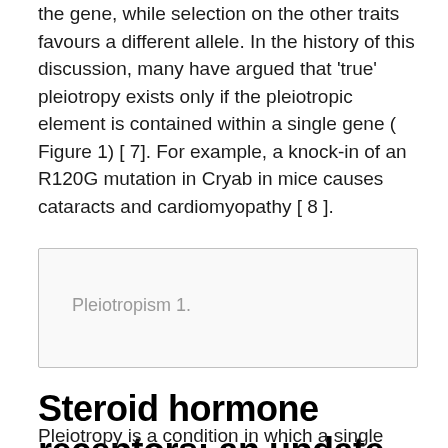the gene, while selection on the other traits favours a different allele. In the history of this discussion, many have argued that ‘true’ pleiotropy exists only if the pleiotropic element is contained within a single gene ( Figure 1) [ 7]. For example, a knock-in of an R120G mutation in Cryab in mice causes cataracts and cardiomyopathy [ 8 ].
[Figure (other): Placeholder box labeled 'Pleiotropism 1.' representing Figure 1]
Steroid hormone receptors: an update
Pleiotropy is a condition in which a single gene